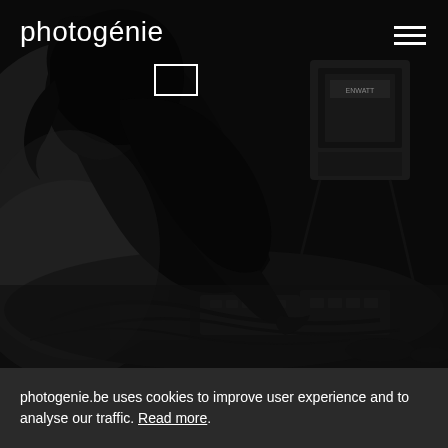[Figure (photo): Black and white photograph of a musician silhouetted on stage, leaning down toward guitar pedals and equipment on the floor, with a guitar amplifier visible in the background]
photogénie
photogenie.be uses cookies to improve user experience and to analyse our traffic. Read more.